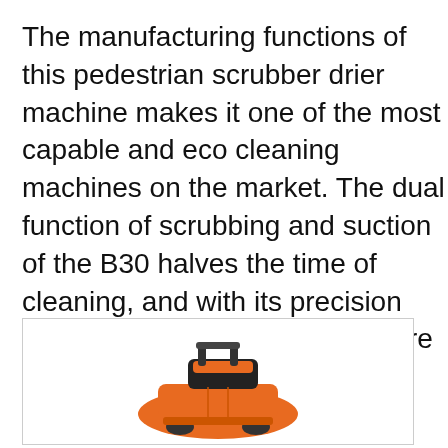The manufacturing functions of this pedestrian scrubber drier machine makes it one of the most capable and eco cleaning machines on the market. The dual function of scrubbing and suction of the B30 halves the time of cleaning, and with its precision expands the ability to cover more area with greater effectiveness.
[Figure (photo): Photo of an orange pedestrian scrubber drier machine (B30), shown partially from above at an angle, with orange and black body.]